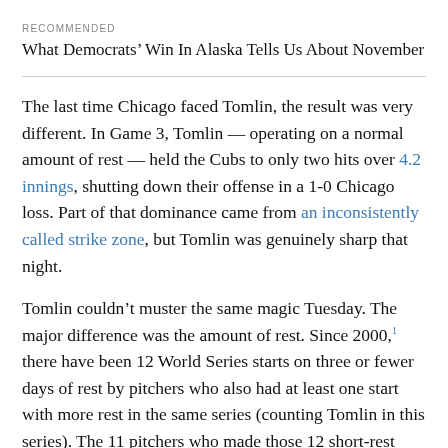RECOMMENDED
What Democrats’ Win In Alaska Tells Us About November
The last time Chicago faced Tomlin, the result was very different. In Game 3, Tomlin — operating on a normal amount of rest — held the Cubs to only two hits over 4.2 innings, shutting down their offense in a 1-0 Chicago loss. Part of that dominance came from an inconsistently called strike zone, but Tomlin was genuinely sharp that night.
Tomlin couldn’t muster the same magic Tuesday. The major difference was the amount of rest. Since 2000,¹ there have been 12 World Series starts on three or fewer days of rest by pitchers who also had at least one start with more rest in the same series (counting Tomlin in this series). The 11 pitchers who made those 12 short-rest starts tend to be among the best in